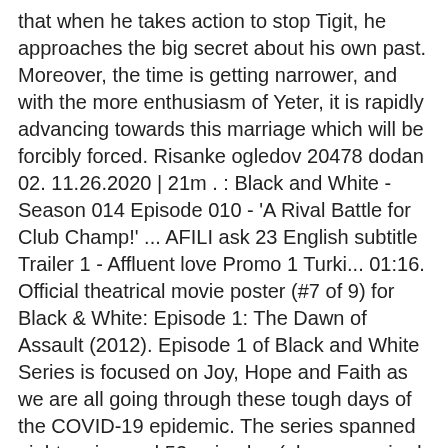that when he takes action to stop Tigit, he approaches the big secret about his own past. Moreover, the time is getting narrower, and with the more enthusiasm of Yeter, it is rapidly advancing towards this marriage which will be forcibly forced. Risanke ogledov 20478 dodan 02. 11.26.2020 | 21m . : Black and White - Season 014 Episode 010 - 'A Rival Battle for Club Champ!' ... AFILI ask 23 English subtitle Trailer 1 - Affluent love Promo 1 Turki... 01:16. Official theatrical movie poster (#7 of 9) for Black & White: Episode 1: The Dawn of Assault (2012). Episode 1 of Black and White Series is focused on Joy, Hope and Faith as we are all going through these tough days of the COVID-19 epidemic. The series spanned eight series and 53 episodes (plus an unaired pilot) and was produced by Thames Television for the ITV network. Black & White: Rival Destinies 30 - Guarding the Guardian of the Mountain! Episode #41 The Club Battle Hearts of Fury: Emolga Versus Sawk! Black & White: Rival Destinies 46 - The Road to Humilau! Will Asli succeed in restoring Ferhat's anger with her love? The only objective is to find Namik before the police and take Necdet's revenge. What Asli